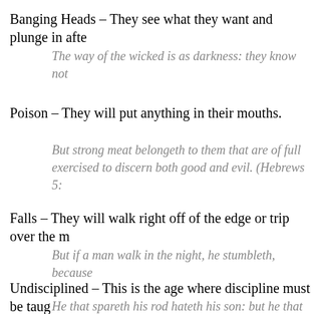Banging Heads – They see what they want and plunge in afte
The way of the wicked is as darkness: they know not
Poison – They will put anything in their mouths.
But strong meat belongeth to them that are of full exercised to discern both good and evil. (Hebrews 5:
Falls – They will walk right off of the edge or trip over the m
But if a man walk in the night, he stumbleth, because
Undisciplined – This is the age where discipline must be taug
He that spareth his rod hateth his son: but he that lov
Learning – Begin to learn the first hard lessons of life usually